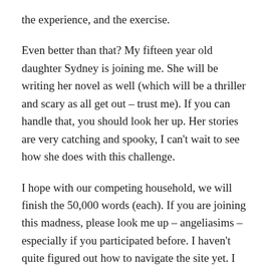the experience, and the exercise.
Even better than that? My fifteen year old daughter Sydney is joining me. She will be writing her novel as well (which will be a thriller and scary as all get out – trust me). If you can handle that, you should look her up. Her stories are very catching and spooky, I can't wait to see how she does with this challenge.
I hope with our competing household, we will finish the 50,000 words (each). If you are joining this madness, please look me up – angeliasims – especially if you participated before. I haven't quite figured out how to navigate the site yet. I could use all the help I can get.